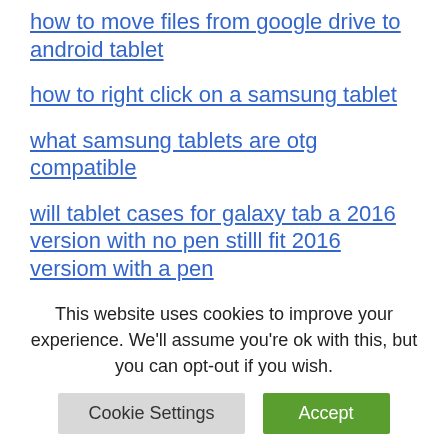how to move files from google drive to android tablet
how to right click on a samsung tablet
what samsung tablets are otg compatible
will tablet cases for galaxy tab a 2016 version with no pen stilll fit 2016 versiom with a pen
how to open wacom tablet properties
how to change theme on my asus
This website uses cookies to improve your experience. We'll assume you're ok with this, but you can opt-out if you wish.
Cookie Settings | Accept